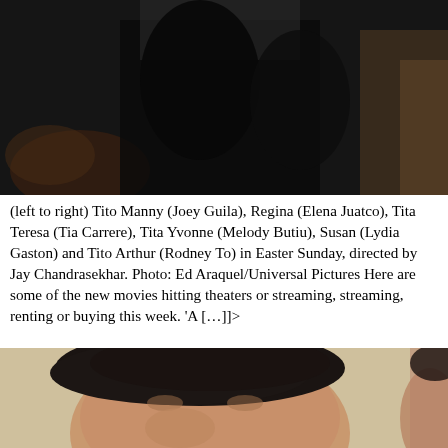[Figure (photo): Top photo showing people in dark setting, partially visible, dark background]
(left to right) Tito Manny (Joey Guila), Regina (Elena Juatco), Tita Teresa (Tia Carrere), Tita Yvonne (Melody Butiu), Susan (Lydia Gaston) and Tito Arthur (Rodney To) in Easter Sunday, directed by Jay Chandrasekhar. Photo: Ed Araquel/Universal Pictures Here are some of the new movies hitting theaters or streaming, streaming, renting or buying this week. ‘A […]]]>
[Figure (photo): Bottom photo showing close-up of a man's face with dark hair, tan/beige background, another person partially visible at right edge]